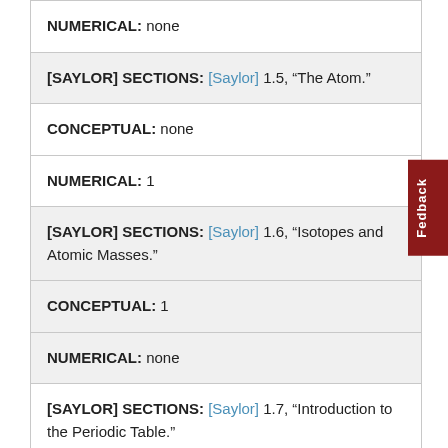NUMERICAL: none
[SAYLOR] SECTIONS: [Saylor] 1.5, “The Atom.”
CONCEPTUAL: none
NUMERICAL: 1
[SAYLOR] SECTIONS: [Saylor] 1.6, “Isotopes and Atomic Masses.”
CONCEPTUAL: 1
NUMERICAL: none
[SAYLOR] SECTIONS: [Saylor] 1.7, “Introduction to the Periodic Table.”
CONCEPTUAL: 1, 4, 6, 10, 11
NUMERICAL: none